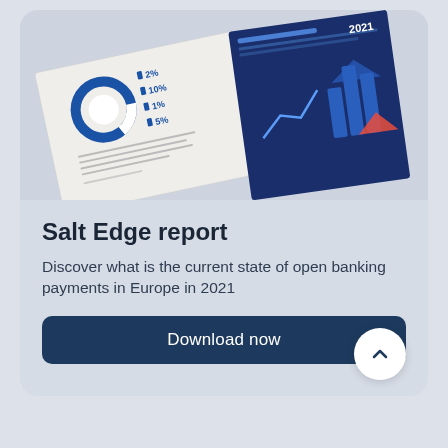[Figure (photo): Open book showing financial report pages with donut chart, percentage values (2%, 10%, 1%, 5%), text columns, and a dark blue infographic cover page with bar chart and geometric shapes on a light blue/lavender background.]
Salt Edge report
Discover what is the current state of open banking payments in Europe in 2021
Download now